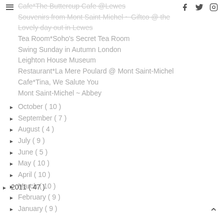☰ [navigation] | [facebook] [twitter] [instagram]
Cafe*The Buttercup Cafe @Lewes
Souvenirs from Mont Saint-Michel ~ Giftco @ the
Lovely day out in Lewes
Tea Room*Soho's Secret Tea Room
Swing Sunday in Autumn London
Leighton House Museum
Restaurant*La Mere Poulard @ Mont Saint-Michel
Cafe*Tina, We Salute You
Mont Saint-Michel ~ Abbey
► October ( 10 )
► September ( 7 )
► August ( 4 )
► July ( 9 )
► June ( 5 )
► May ( 10 )
► April ( 10 )
► March ( 10 )
► February ( 9 )
► January ( 9 )
► 2011 ( 47 )